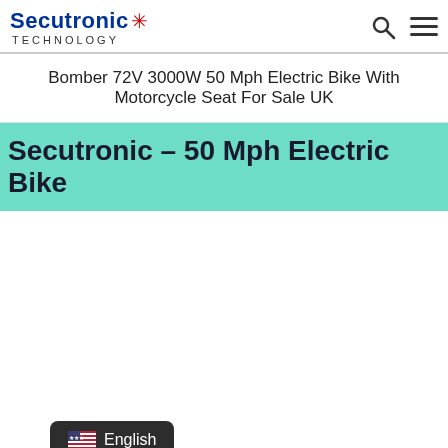Secutronic TECHNOLOGY
Bomber 72V 3000W 50 Mph Electric Bike With Motorcycle Seat For Sale UK
Secutronic – 50 Mph Electric Bike
English